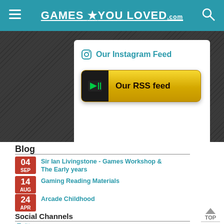Games You Loved .com
[Figure (screenshot): White card with Instagram feed section header and yellow RSS feed button on dark textured background]
Blog
04 SEP – Sir Ian Livingstone - Games Workshop & The Early years
14 AUG – Gaming Reading Materials
24 APR – Arcade Childhood
Social Channels
Twitter
Instagram